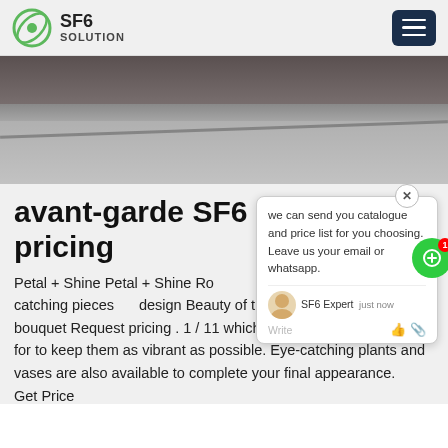SF6 SOLUTION
[Figure (photo): Outdoor photo showing a paved surface or roadway, grey tones]
[Figure (screenshot): Chat popup widget: 'we can send you catalogue and price list for you choosing. Leave us your email or whatsapp.' with SF6 Expert agent label and 'just now' timestamp, Write input with like and attachment icons. Green chat button with red badge '1'.]
avant-garde SF6 CB pricing
Petal + Shine Petal + Shine Romance Arch Pastel bouquet Eye-catching pieces for design Beauty of the sailboat Holding the bouquet Request pricing . 1 / 11 which are freshly cut and cared for to keep them as vibrant as possible. Eye-catching plants and vases are also available to complete your final appearance.
Get Price